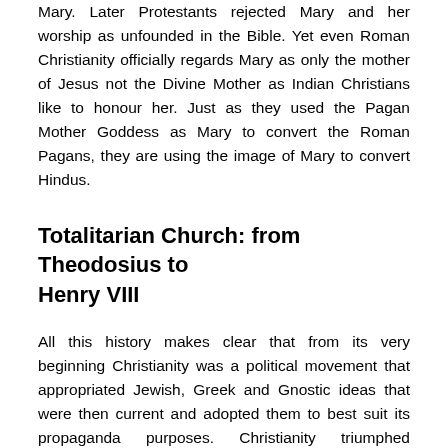Mary. Later Protestants rejected Mary and her worship as unfounded in the Bible. Yet even Roman Christianity officially regards Mary as only the mother of Jesus not the Divine Mother as Indian Christians like to honour her. Just as they used the Pagan Mother Goddess as Mary to convert the Roman Pagans, they are using the image of Mary to convert Hindus.
Totalitarian Church: from Theodosius to Henry VIII
All this history makes clear that from its very beginning Christianity was a political movement that appropriated Jewish, Greek and Gnostic ideas that were then current and adopted them to best suit its propaganda purposes. Christianity triumphed because of the political skill of its